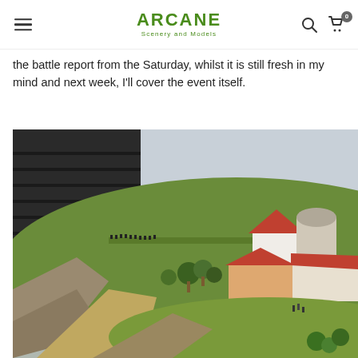ARCANE Scenery and Models
the battle report from the Saturday, whilst it is still fresh in my mind and next week, I'll cover the event itself.
[Figure (photo): Miniature wargaming terrain diorama showing a hillside village with white buildings, red roofs, a round tower, trees, and miniature soldiers on green grass terrain with a dry riverbed in the foreground.]